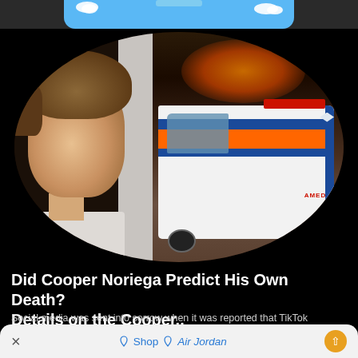[Figure (screenshot): Mobile browser screenshot showing a news article about Cooper Noriega. Top section has a blue ad banner with clouds. Main image shows a composite oval photo of a young man on the left and an ambulance on the right. Below is headline text and a bottom navigation bar with Shop Air Jordan branding.]
Did Cooper Noriega Predict His Own Death? Details on the Cooper..
Social media was sent into sorrow when it was reported that TikTok superstar Cooper Noriega is dead...
× Shop ◇ Air Jordan ▲